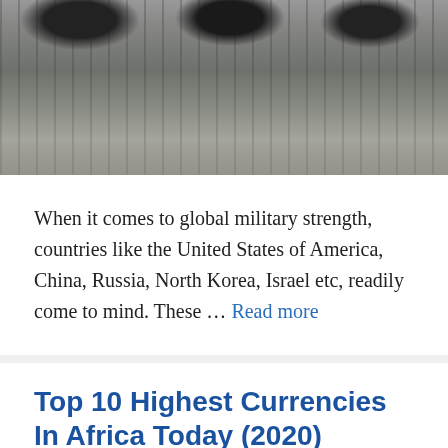[Figure (photo): Black and white photo of military vehicles (likely tanks or armored vehicles) in water, viewed from above/behind, showing wheels and water reflections.]
When it comes to global military strength, countries like the United States of America, China, Russia, North Korea, Israel etc, readily come to mind. These … Read more
Top 10 Highest Currencies In Africa Today (2020)
Updated: May 22, 2020 by Editorial Team